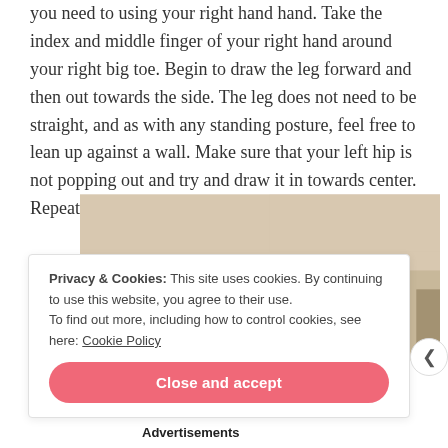you need to using your right hand hand. Take the index and middle finger of your right hand around your right big toe. Begin to draw the leg forward and then out towards the side. The leg does not need to be straight, and as with any standing posture, feel free to lean up against a wall. Make sure that your left hip is not popping out and try and draw it in towards center. Repeat on the other side.
[Figure (photo): A photograph looking up at a ceiling with a mounted dome ceiling light fixture in a room, showing beige/cream colored walls.]
Privacy & Cookies: This site uses cookies. By continuing to use this website, you agree to their use.
To find out more, including how to control cookies, see here: Cookie Policy
Close and accept
Advertisements